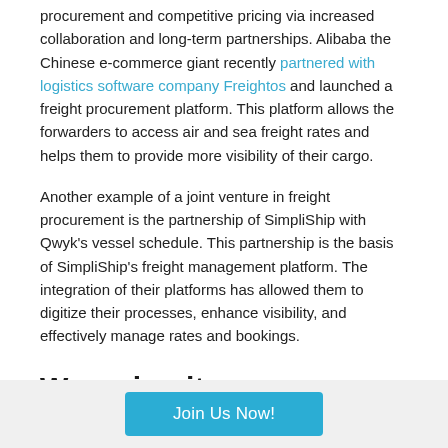procurement and competitive pricing via increased collaboration and long-term partnerships. Alibaba the Chinese e-commerce giant recently partnered with logistics software company Freightos and launched a freight procurement platform. This platform allows the forwarders to access air and sea freight rates and helps them to provide more visibility of their cargo.
Another example of a joint venture in freight procurement is the partnership of SimpliShip with Qwyk's vessel schedule. This partnership is the basis of SimpliShip's freight management platform. The integration of their platforms has allowed them to digitize their processes, enhance visibility, and effectively manage rates and bookings.
Wrapping it up
Join Us Now!